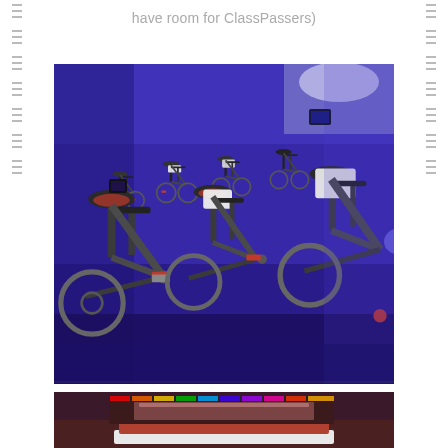have room for ClassPassers)
[Figure (photo): Indoor cycling studio lit with deep blue/purple lighting, showing multiple stationary bikes (spin bikes) arranged in rows. The room has blue-lit walls with towels draped over some handlebars.]
[Figure (photo): Partial view of another room or area, showing colorful items (folded towels or textiles) on a shelf or surface with warm reddish/multicolor lighting at the top.]